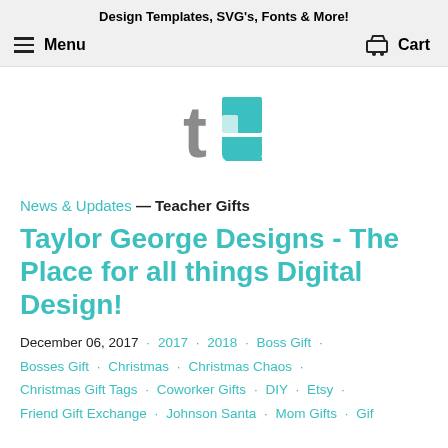Design Templates, SVG's, Fonts & More!
Menu   Cart
[Figure (logo): Taylor George Designs logo: lowercase teal 't' overlapping with a grey-teal geometric 'G' shape]
News & Updates — Teacher Gifts
Taylor George Designs - The Place for all things Digital Design!
December 06, 2017 · 2017 · 2018 · Boss Gift · Bosses Gift · Christmas · Christmas Chaos · Christmas Gift Tags · Coworker Gifts · DIY · Etsy · Friend Gift Exchange · Johnson Santa · Mom Gifts · Gifts...